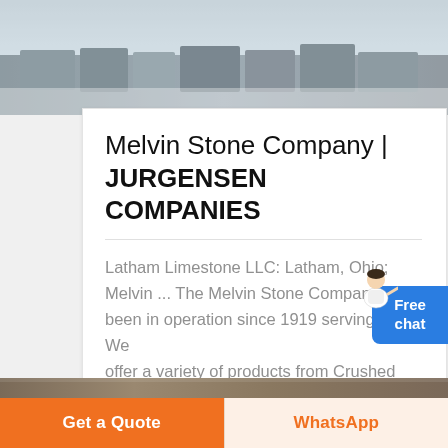[Figure (photo): Aerial or ground-level view of a stone quarry or construction site with large stone blocks and equipment]
Melvin Stone Company | JURGENSEN COMPANIES
Latham Limestone LLC: Latham, Ohio; Melvin ... The Melvin Stone Company has been in operation since 1919 serving ... We offer a variety of products from Crushed ...
Read More ↗
[Figure (photo): Ground-level view of a stone quarry or rocky terrain]
Get a Quote
WhatsApp